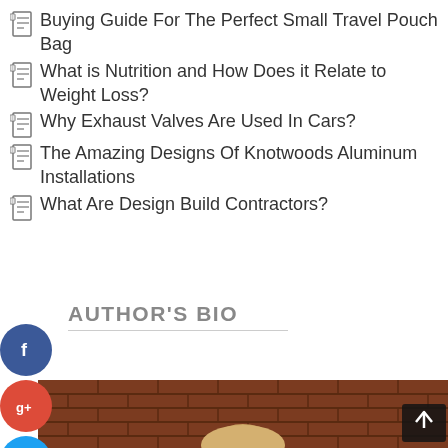Buying Guide For The Perfect Small Travel Pouch Bag
What is Nutrition and How Does it Relate to Weight Loss?
Why Exhaust Valves Are Used In Cars?
The Amazing Designs Of Knotwoods Aluminum Installations
What Are Design Build Contractors?
AUTHOR'S BIO
[Figure (photo): Photo of a person with blonde hair against a brick wall background, partially visible at bottom of page. Social media buttons (Facebook, Google+, Twitter, plus) visible on left side.]